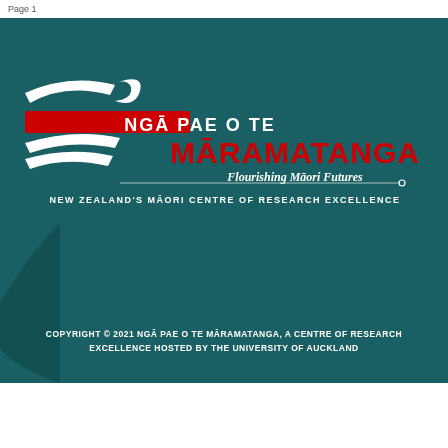Page 1
[Figure (logo): Ngā Pae o te Māramatanga logo with koru/wing graphic in white and red, text 'NGĀ PAE O TE MĀRAMATANGA', tagline 'Flourishing Māori Futures', subtitle 'NEW ZEALAND'S MĀORI CENTRE OF RESEARCH EXCELLENCE']
COPYRIGHT © 2021 NGĀ PAE O TE MĀRAMATANGA, A CENTRE OF RESEARCH EXCELLENCE HOSTED BY THE UNIVERSITY OF AUCKLAND